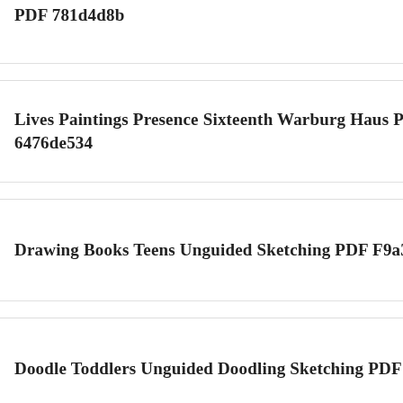PDF 781d4d8b
Lives Paintings Presence Sixteenth Warburg Haus PDF 6476de534
Drawing Books Teens Unguided Sketching PDF F9a33bf51
Doodle Toddlers Unguided Doodling Sketching PDF 74c151d73
Arts Vol Reviewing October Classic PDF 83fd474e8
Catalogue Collection Paintings Presented Trafalgar PDF F21b2b542
Palazzo Galleria Nazionale Classic